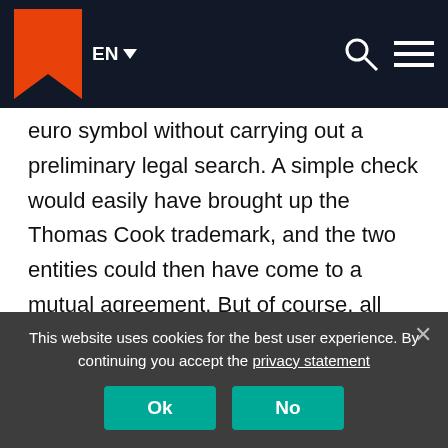EN [navigation bar with logo, language selector, search and menu icons]
euro symbol without carrying out a preliminary legal search. A simple check would easily have brought up the Thomas Cook trademark, and the two entities could then have come to a mutual agreement. But of course, all that's now water under the bridge in view of the dramatic demise of Thomas Cook.
Bas Kist
This website uses cookies for the best user experience. By continuing you accept the privacy statement